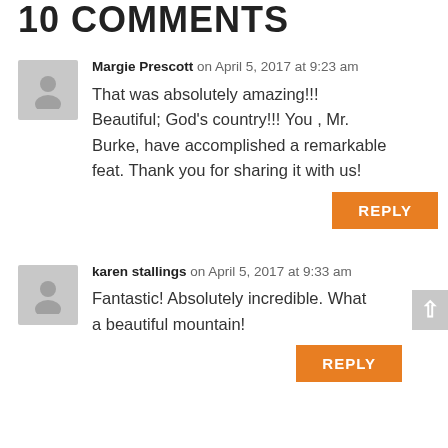10 COMMENTS
Margie Prescott on April 5, 2017 at 9:23 am
That was absolutely amazing!!! Beautiful; God's country!!! You , Mr. Burke, have accomplished a remarkable feat. Thank you for sharing it with us!
REPLY
karen stallings on April 5, 2017 at 9:33 am
Fantastic! Absolutely incredible. What a beautiful mountain!
REPLY